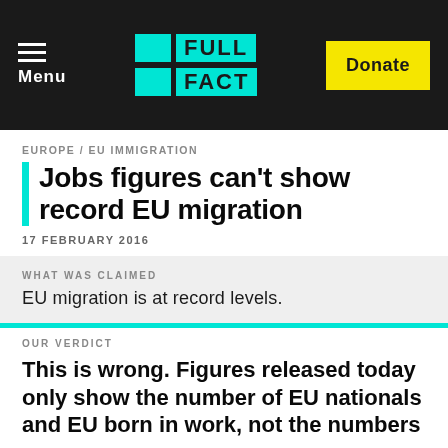Menu | FULL FACT | Donate
EUROPE / EU IMMIGRATION
Jobs figures can't show record EU migration
17 FEBRUARY 2016
WHAT WAS CLAIMED
EU migration is at record levels.
OUR VERDICT
This is wrong. Figures released today only show the number of EU nationals and EU born in work, not the numbers